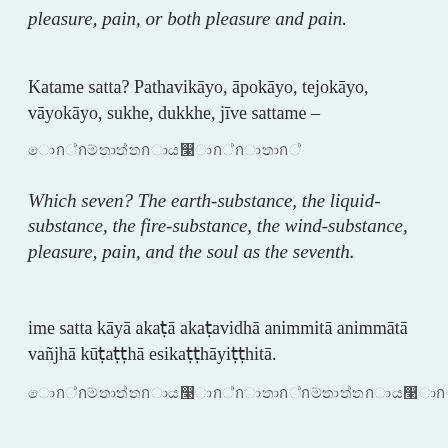pleasure, pain, or both pleasure and pain.
Katame satta? Pathavikāyo, āpokāyo, tejokāyo, vāyokāyo, sukhe, dukkhe, jīve sattame –
[Pali script text]
Which seven? The earth-substance, the liquid-substance, the fire-substance, the wind-substance, pleasure, pain, and the soul as the seventh.
ime satta kāyā akaṭā akaṭavidhā animmitā animmātā vañjhā kūṭaṭṭhā esikaṭṭhāyiṭṭhitā.
[Pali script text]